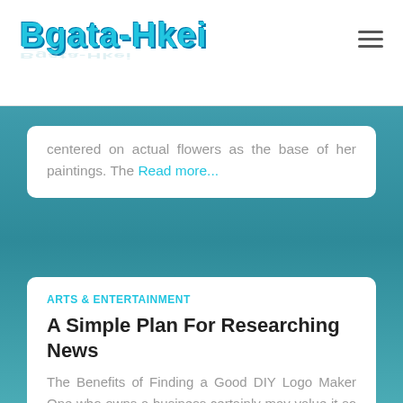Bgata-Hkei
centered on actual flowers as the base of her paintings. The Read more...
ARTS & ENTERTAINMENT
A Simple Plan For Researching News
The Benefits of Finding a Good DIY Logo Maker One who owns a business certainly may value it so much, as such a business gives him or her so many things to gain. Knowing this, Read more...